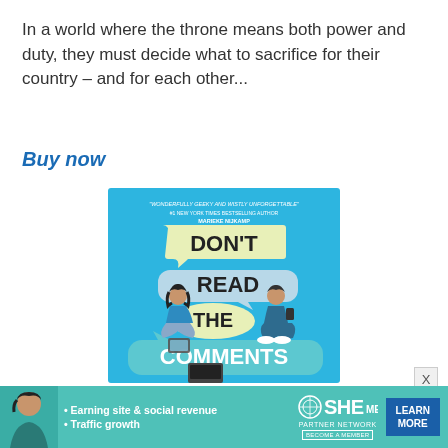In a world where the throne means both power and duty, they must decide what to sacrifice for their country – and for each other...
Buy now
[Figure (illustration): Book cover of 'Don't Read the Comments' showing two teenagers on a blue background with speech bubble text. A girl sits cross-legged on the left and a boy sits on the right. The title is displayed in large speech bubbles.]
[Figure (infographic): SHE Media partner network advertisement banner with a woman photo, bullet points about earning site and social revenue and traffic growth, SHE logo, and a Learn More button.]